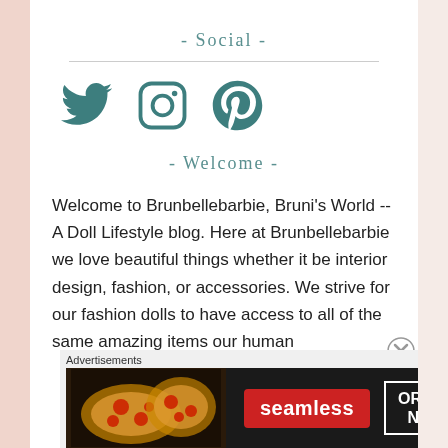- Social -
[Figure (illustration): Social media icons: Twitter bird, Instagram camera, Pinterest P — rendered in teal color]
- Welcome -
Welcome to Brunbellebarbie, Bruni's World -- A Doll Lifestyle blog. Here at Brunbellebarbie we love beautiful things whether it be interior design, fashion, or accessories. We strive for our fashion dolls to have access to all of the same amazing items our human
Advertisements
[Figure (screenshot): Seamless food delivery advertisement banner with pizza image, red Seamless logo, and ORDER NOW button]